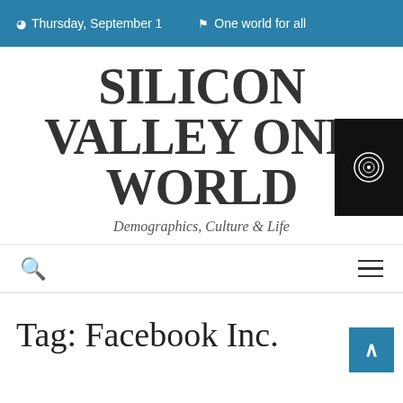Thursday, September 1   One world for all
SILICON VALLEY ONE WORLD
Demographics, Culture & Life
Tag: Facebook Inc.